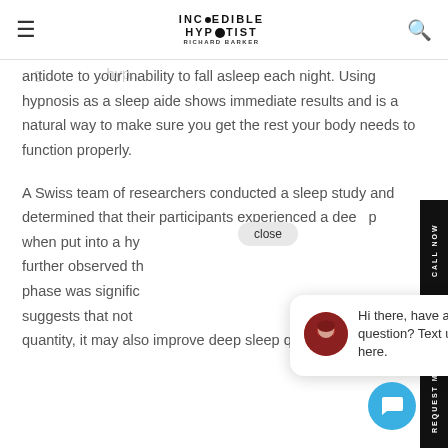INCREDIBLE HYPNOTIST RICHARD BARKER
antidote to your inability to fall asleep each night. Using hypnosis as a sleep aide shows immediate results and is a natural way to make sure you get the rest your body needs to function properly.

A Swiss team of researchers conducted a sleep study and determined that their participants experienced a deeper sleep when put into a hypnotic state. The researchers further observed that the slow-wave, or 'deep sleep' phase was significantly longer. This research suggests that not only does hypnosis improve sleep quantity, it may also improve deep sleep quality."